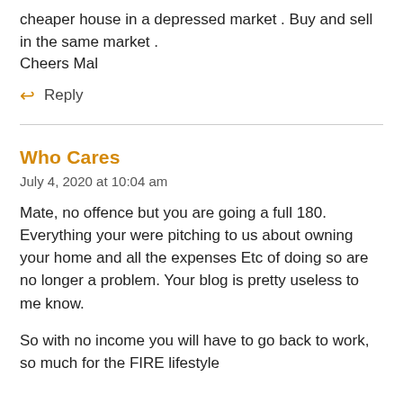cheaper house in a depressed market . Buy and sell in the same market .
Cheers Mal
↩ Reply
Who Cares
July 4, 2020 at 10:04 am
Mate, no offence but you are going a full 180. Everything your were pitching to us about owning your home and all the expenses Etc of doing so are no longer a problem. Your blog is pretty useless to me know.
So with no income you will have to go back to work, so much for the FIRE lifestyle